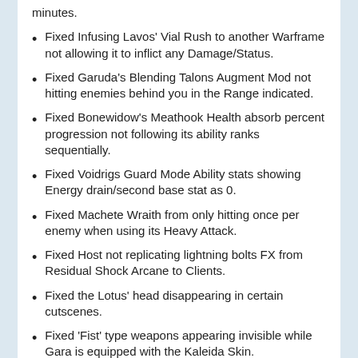minutes.
Fixed Infusing Lavos' Vial Rush to another Warframe not allowing it to inflict any Damage/Status.
Fixed Garuda's Blending Talons Augment Mod not hitting enemies behind you in the Range indicated.
Fixed Bonewidow's Meathook Health absorb percent progression not following its ability ranks sequentially.
Fixed Voidrigs Guard Mode Ability stats showing Energy drain/second base stat as 0.
Fixed Machete Wraith from only hitting once per enemy when using its Heavy Attack.
Fixed Host not replicating lightning bolts FX from Residual Shock Arcane to Clients.
Fixed the Lotus' head disappearing in certain cutscenes.
Fixed 'Fist' type weapons appearing invisible while Gara is equipped with the Kaleida Skin.